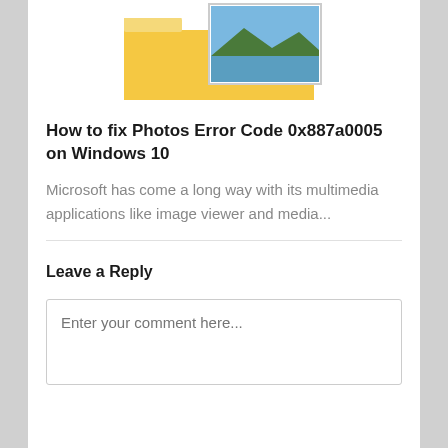[Figure (illustration): Windows folder icon with a landscape photo thumbnail overlapping it, showing mountains and a lake.]
How to fix Photos Error Code 0x887a0005 on Windows 10
Microsoft has come a long way with its multimedia applications like image viewer and media...
Leave a Reply
Enter your comment here...